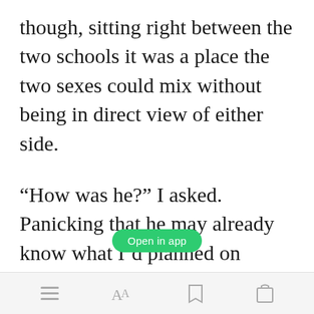though, sitting right between the two schools it was a place the two sexes could mix without being in direct view of either side.
“How was he?” I asked. Panicking that he may already know what I’d planned on telling him that night.
“Like a lost puppy.” She expressed a sad face with her eyes.
Open in app